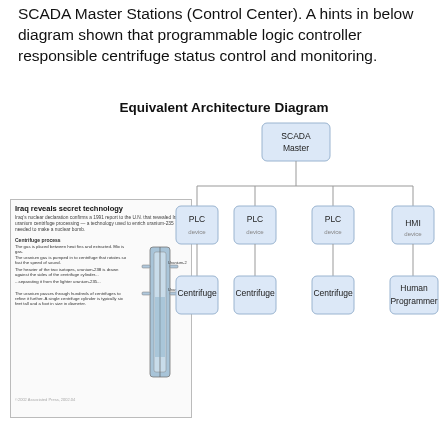SCADA Master Stations (Control Center). A hints in below diagram shown that programmable logic controller responsible centrifuge status control and monitoring.
Equivalent Architecture Diagram
[Figure (organizational-chart): Hierarchical organizational chart showing SCADA Master at top, connecting down to four nodes: PLC, PLC, PLC, and HMI. Each PLC connects to a Centrifuge below it, and HMI connects to Human Programmer.]
[Figure (photo): News clipping titled 'Iraq reveals secret technology' with an illustration of a centrifuge and explanatory text about uranium enrichment centrifuge processes.]